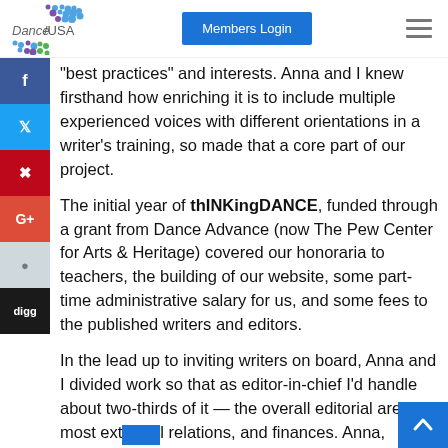[Figure (logo): Dance/USA logo with colorful dot pattern above and below the text]
Members Login
"best practices" and interests. Anna and I knew firsthand how enriching it is to include multiple experienced voices with different orientations in a writer's training, so made that a core part of our project.
The initial year of thINKingDANCE, funded through a grant from Dance Advance (now The Pew Center for Arts & Heritage) covered our honoraria to teachers, the building of our website, some part-time administrative salary for us, and some fees to the published writers and editors.
In the lead up to inviting writers on board, Anna and I divided work so that as editor-in-chief I'd handle about two-thirds of it — the overall editorial area, most external relations, and finances. Anna, shouldering the other third of the effort, handled the technical aspects of